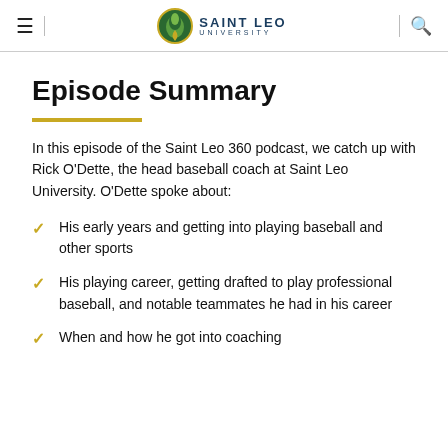Saint Leo University
Episode Summary
In this episode of the Saint Leo 360 podcast, we catch up with Rick O'Dette, the head baseball coach at Saint Leo University. O'Dette spoke about:
His early years and getting into playing baseball and other sports
His playing career, getting drafted to play professional baseball, and notable teammates he had in his career
When and how he got into coaching